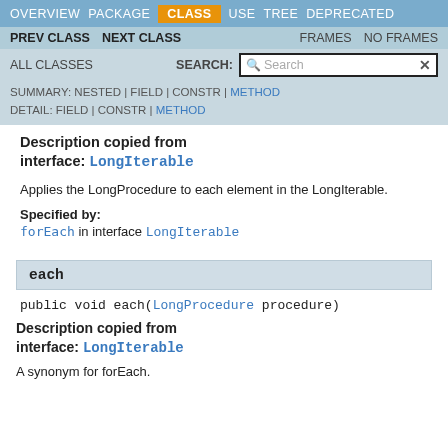OVERVIEW  PACKAGE  CLASS  USE  TREE  DEPRECATED
PREV CLASS  NEXT CLASS  FRAMES  NO FRAMES
ALL CLASSES  SEARCH:
SUMMARY: NESTED | FIELD | CONSTR | METHOD  DETAIL: FIELD | CONSTR | METHOD
Description copied from interface: LongIterable
Applies the LongProcedure to each element in the LongIterable.
Specified by:
forEach in interface LongIterable
each
public void each(LongProcedure procedure)
Description copied from interface: LongIterable
A synonym for forEach.